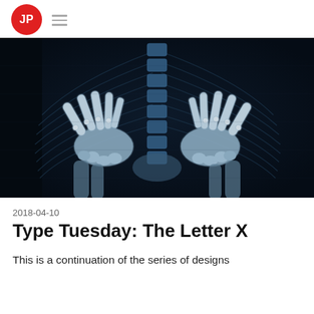JP
[Figure (photo): X-ray style artistic image showing two skeletal hands crossing or clasped together, with ribs and spine visible in the background, rendered in blue-white tones on dark background]
2018-04-10
Type Tuesday: The Letter X
This is a continuation of the series of designs